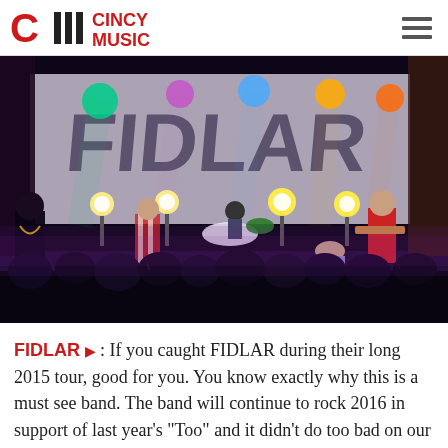CINCY MUSIC
[Figure (photo): FIDLAR band performing on stage with large FIDLAR banner backdrop, colorful stage lighting, crowd in foreground]
FIDLAR ▶ : If you caught FIDLAR during their long 2015 tour, good for you. You know exactly why this is a must see band. The band will continue to rock 2016 in support of last year's "Too" and it didn't do too bad on our Top